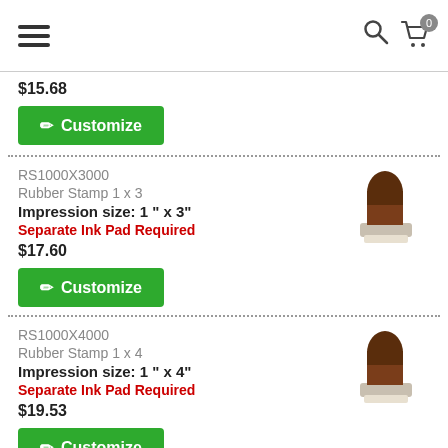Navigation header with hamburger menu, search icon, and cart (0 items)
$15.68
Customize
RS1000X3000
Rubber Stamp 1 x 3
Impression size: 1" x 3"
Separate Ink Pad Required
$17.60
Customize
RS1000X4000
Rubber Stamp 1 x 4
Impression size: 1" x 4"
Separate Ink Pad Required
$19.53
Customize